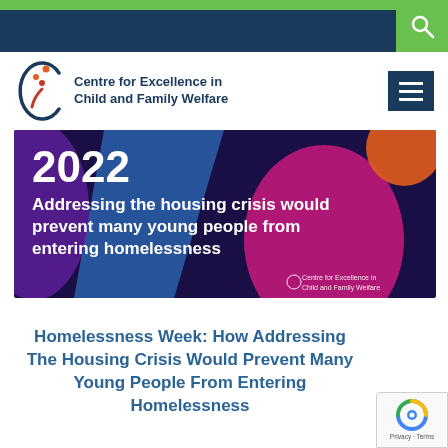Centre for Excellence in Child and Family Welfare
[Figure (illustration): Banner image with dark navy background and colorful abstract shapes (blue, magenta, orange). Text reads: 2022 Addressing the housing crisis would prevent many young people from entering homelessness. Centre for Excellence in Child and Family Welfare logo bottom right.]
Homelessness Week: How Addressing The Housing Crisis Would Prevent Many Young People From Entering Homelessness